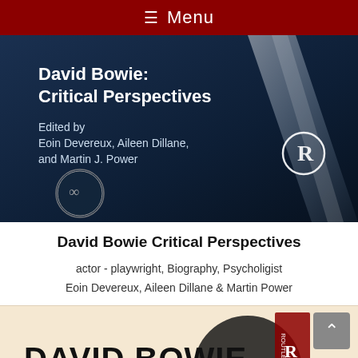≡ Menu
[Figure (photo): Book cover of 'David Bowie: Critical Perspectives' edited by Eoin Devereux, Aileen Dillane, and Martin J. Power, published by Routledge. Dark blue background with white text and publisher logo.]
David Bowie Critical Perspectives
actor - playwright, Biography, Psycholigist
Eoin Devereux, Aileen Dillane & Martin Power
[Figure (photo): Partial view of another David Bowie book cover with black and beige tones and Routledge logo visible on the right side.]